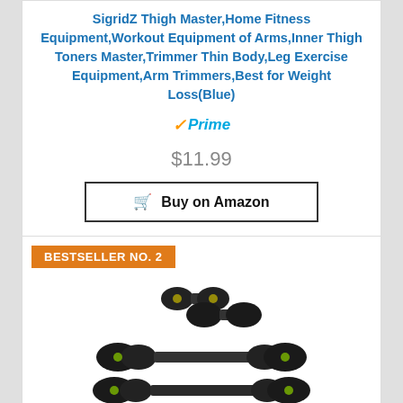SigridZ Thigh Master,Home Fitness Equipment,Workout Equipment of Arms,Inner Thigh Toners Master,Trimmer Thin Body,Leg Exercise Equipment,Arm Trimmers,Best for Weight Loss(Blue)
[Figure (logo): Amazon Prime badge with checkmark]
$11.99
Buy on Amazon
BESTSELLER NO. 2
[Figure (photo): Adjustable dumbbells set shown in three configurations: two small dumbbells stacked, a barbell with multiple plates, and a single long barbell]
Dumbbells Set Adjustable Weight,